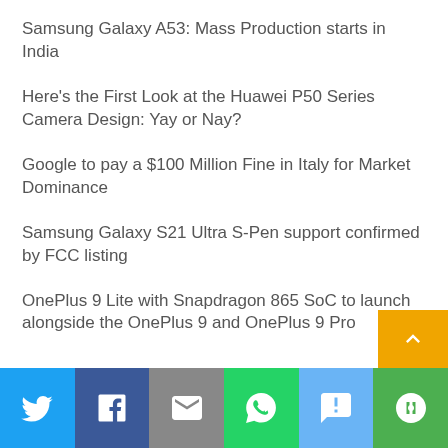Samsung Galaxy A53: Mass Production starts in India
Here's the First Look at the Huawei P50 Series Camera Design: Yay or Nay?
Google to pay a $100 Million Fine in Italy for Market Dominance
Samsung Galaxy S21 Ultra S-Pen support confirmed by FCC listing
OnePlus 9 Lite with Snapdragon 865 SoC to launch alongside the OnePlus 9 and OnePlus 9 Pro
Share bar with Twitter, Facebook, Email, WhatsApp, SMS, More